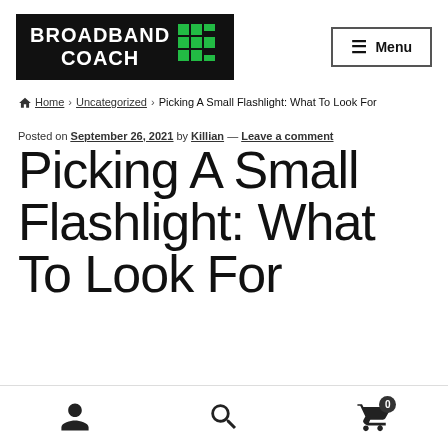BROADBAND COACH — Menu
Home › Uncategorized › Picking A Small Flashlight: What To Look For
Posted on September 26, 2021 by Killian — Leave a comment
Picking A Small Flashlight: What To Look For
[user icon] [search icon] [cart icon] 0